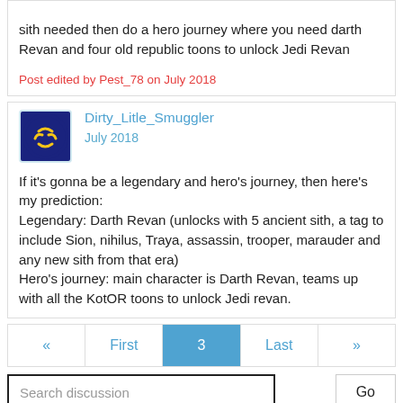sith needed then do a hero journey where you need darth Revan and four old republic toons to unlock Jedi Revan
Post edited by Pest_78 on July 2018
Dirty_Litle_Smuggler
July 2018
If it's gonna be a legendary and hero's journey, then here's my prediction:
Legendary: Darth Revan (unlocks with 5 ancient sith, a tag to include Sion, nihilus, Traya, assassin, trooper, marauder and any new sith from that era)
Hero's journey: main character is Darth Revan, teams up with all the KotOR toons to unlock Jedi revan.
« First 3 Last »
Search discussion
Go
Sign In or Register to comment.